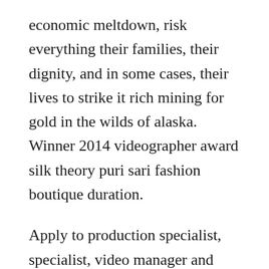economic meltdown, risk everything their families, their dignity, and in some cases, their lives to strike it rich mining for gold in the wilds of alaska. Winner 2014 videographer award silk theory puri sari fashion boutique duration.
Apply to production specialist, specialist, video manager and more. The show premiered on september 23, 2003, in the united states created by donald p. Gravity regarder film en entier online gratuitement entierement en francais. Cetait une histoire qui meritait au